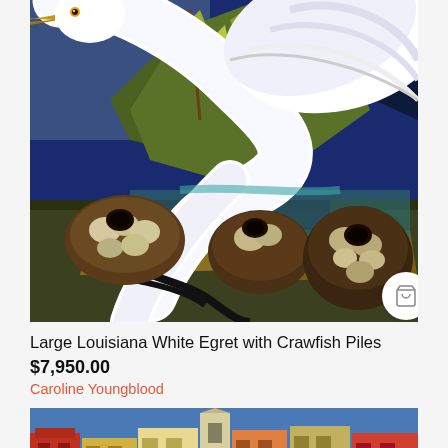[Figure (photo): Painting of a large white egret bird bending down among crawfish piles, with green foliage in the background and a dark blue sky. The bird has a yellow beak and is rendered in bold, expressive brushstrokes. A white circular shopping cart button overlays the bottom-right corner of the image.]
Large Louisiana White Egret with Crawfish Piles
$7,950.00
Caroline Youngblood
[Figure (photo): Partial view of a second painting showing colorful Mediterranean-style buildings with a blue sky.]